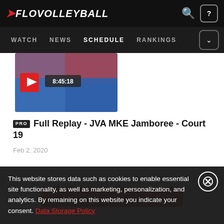FLOVOLLEYBALL — WATCH NEWS SCHEDULE RANKINGS
[Figure (screenshot): Video thumbnail of volleyball court with play button and duration badge showing 8:45:18]
PRO Full Replay - JVA MKE Jamboree - Court 19
Feb 2, 2020
This website stores data such as cookies to enable essential site functionality, as well as marketing, personalization, and analytics. By remaining on this website you indicate your consent. Data Storage Policy